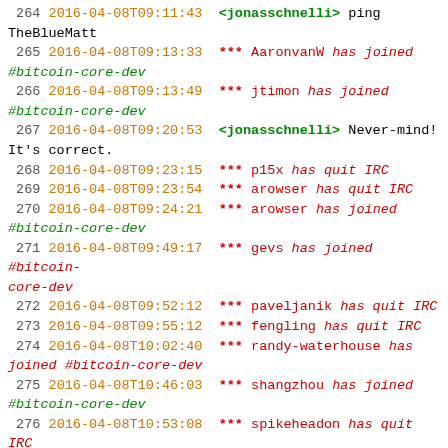264 2016-04-08T09:11:43 <jonasschnelli> ping TheBlueMatt
265 2016-04-08T09:13:33 *** AaronvanW has joined #bitcoin-core-dev
266 2016-04-08T09:13:49 *** jtimon has joined #bitcoin-core-dev
267 2016-04-08T09:20:53 <jonasschnelli> Never-mind! It's correct.
268 2016-04-08T09:23:15 *** p15x has quit IRC
269 2016-04-08T09:23:54 *** arowser has quit IRC
270 2016-04-08T09:24:21 *** arowser has joined #bitcoin-core-dev
271 2016-04-08T09:49:17 *** gevs has joined #bitcoin-core-dev
272 2016-04-08T09:52:12 *** paveljanik has quit IRC
273 2016-04-08T09:55:12 *** fengling has quit IRC
274 2016-04-08T10:02:40 *** randy-waterhouse has joined #bitcoin-core-dev
275 2016-04-08T10:46:03 *** shangzhou has joined #bitcoin-core-dev
276 2016-04-08T10:53:08 *** spikeheadon has quit IRC
277 2016-04-08T11:13:33 *** johnwhitton has quit IRC
278 2016-04-08T11:22:11 *** d_t has joined #bitcoin-core-dev
279 2016-04-08T11:36:37 *** randy-waterhouse has quit IRC
280 2016-04-08T11:51:10 *** laurentmt has joined #bitcoin-core-dev